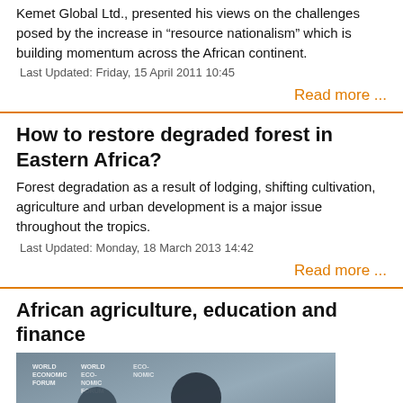Kemet Global Ltd., presented his views on the challenges posed by the increase in “resource nationalism” which is building momentum across the African continent.
Last Updated: Friday, 15 April 2011 10:45
Read more ...
How to restore degraded forest in Eastern Africa?
Forest degradation as a result of lodging, shifting cultivation, agriculture and urban development is a major issue throughout the tropics.
Last Updated: Monday, 18 March 2013 14:42
Read more ...
African agriculture, education and finance
[Figure (photo): Two people at a World Economic Forum panel, one man and one woman speaking, with World Economic Forum logos visible in the background.]